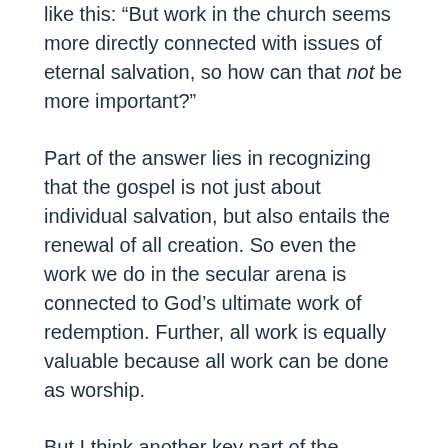like this: “But work in the church seems more directly connected with issues of eternal salvation, so how can that not be more important?”
Part of the answer lies in recognizing that the gospel is not just about individual salvation, but also entails the renewal of all creation. So even the work we do in the secular arena is connected to God’s ultimate work of redemption. Further, all work is equally valuable because all work can be done as worship.
But I think another key part of the answer may also be this: when we say that work in the marketplace is of equal importance to work in the church, sometimes we can unconsciously interpret that to mean that work in the marketplace is more important than work in the church. We can almost hear this great truth as a diminishing of